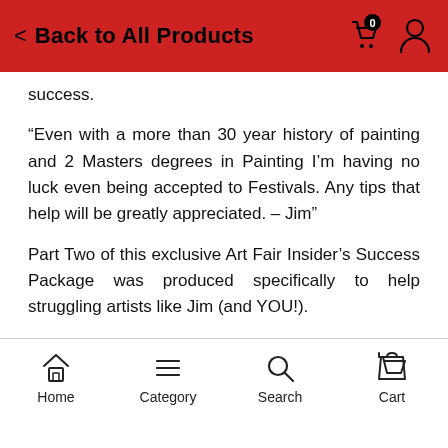Back to All Products
success.
“Even with a more than 30 year history of painting and 2 Masters degrees in Painting I’m having no luck even being accepted to Festivals. Any tips that help will be greatly appreciated. – Jim”
Part Two of this exclusive Art Fair Insider’s Success Package was produced specifically to help struggling artists like Jim (and YOU!).
Special Report II:  Getting into Art Fairs, 20 Questions Answered
Home  Category  Search  Cart